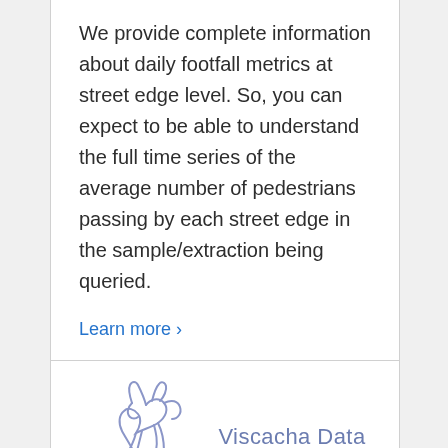We provide complete information about daily footfall metrics at street edge level. So, you can expect to be able to understand the full time series of the average number of pedestrians passing by each street edge in the sample/extraction being queried.
Learn more >
[Figure (logo): Viscacha Data logo — a stylized running rabbit/viscacha outline in muted blue-purple, next to the text 'Viscacha Data']